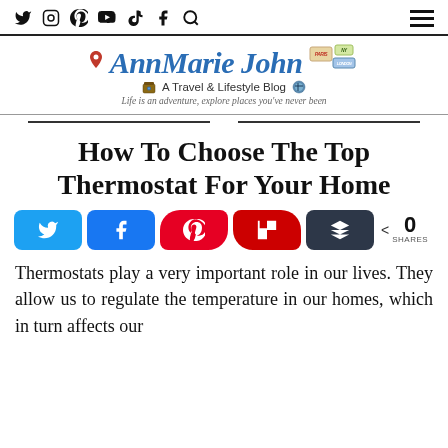Navigation bar with social icons: Twitter, Instagram, Pinterest, YouTube, TikTok, Facebook, Search, and hamburger menu
[Figure (logo): AnnMarie John blog logo - A Travel & Lifestyle Blog. Life is an adventure, explore places you've never been]
How To Choose The Top Thermostat For Your Home
[Figure (infographic): Social share buttons: Twitter (blue), Facebook (blue), Pinterest (red rounded), Flipboard (red rounded), Buffer (dark), share count showing 0 SHARES]
Thermostats play a very important role in our lives. They allow us to regulate the temperature in our homes, which in turn affects our